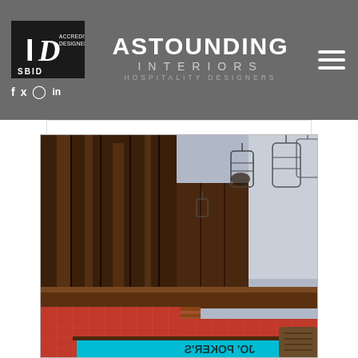[Figure (logo): SBID Accredited Designer logo badge — black square with 'ID' monogram and 'SBID ACCREDITED DESIGNER' text]
ASTOUNDING INTERIORS HOSPITALITY DESIGNERS
[Figure (photo): Interior of a hospitality venue showing a bar/lounge area with dark wood panelled walls, hanging decorative birdcages, red/orange patterned booth seating with horizontal striped wood backrest panels, and a pool/snooker table in the foreground with turquoise felt.]